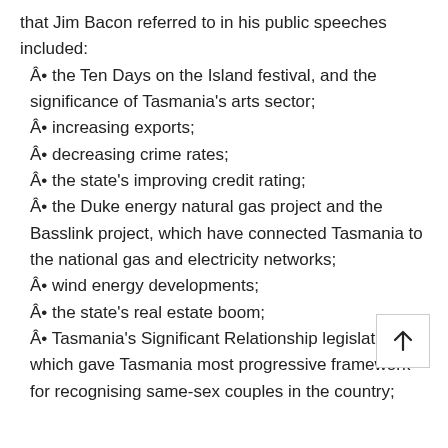that Jim Bacon referred to in his public speeches included:
Â• the Ten Days on the Island festival, and the significance of Tasmania's arts sector;
Â• increasing exports;
Â• decreasing crime rates;
Â• the state's improving credit rating;
Â• the Duke energy natural gas project and the Basslink project, which have connected Tasmania to the national gas and electricity networks;
Â• wind energy developments;
Â• the state's real estate boom;
Â• Tasmania's Significant Relationship legislation - which gave Tasmania most progressive framework for recognising same-sex couples in the country;